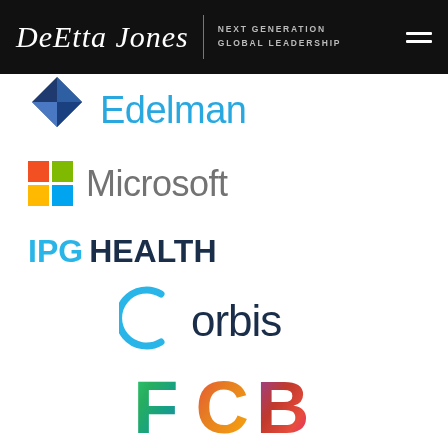[Figure (logo): DeEtta Jones Next Generation Global Leadership website header with logo and hamburger menu on black background]
[Figure (logo): Edelman logo - blue geometric diamond shape with Edelman text in blue, partially cropped at top]
[Figure (logo): Microsoft logo - four colored squares (red, green, blue, yellow) with Microsoft text in gray]
[Figure (logo): IPG Health logo - IPG in light blue and HEALTH in dark navy bold text]
[Figure (logo): Orbis logo - dark navy text with blue arc/swoosh graphic forming a C shape around the O]
[Figure (logo): FCB logo - large colorful lettering F C B with rainbow gradient colors, partially cropped at bottom]